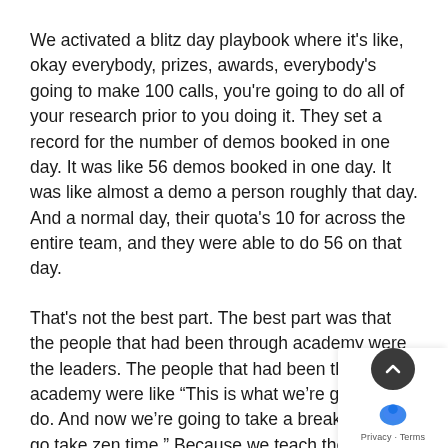We activated a blitz day playbook where it's like, okay everybody, prizes, awards, everybody's going to make 100 calls, you're going to do all of your research prior to you doing it. They set a record for the number of demos booked in one day. It was like 56 demos booked in one day. It was like almost a demo a person roughly that day. And a normal day, their quota's 10 for across the entire team, and they were able to do 56 on that day.
That's not the best part. The best part was that the people that had been through academy were the leaders. The people that had been through academy were like “This is what we’re going to do. And now we’re going to take a break. We’re going to take zen time.” Because we teach them about taking a break and getting away from your desk when